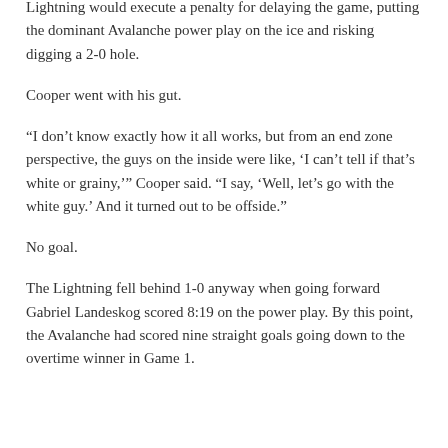if Cooper challenged and video review confirmed the goal, the Lightning would execute a penalty for delaying the game, putting the dominant Avalanche power play on the ice and risking digging a 2-0 hole.
Cooper went with his gut.
“I don’t know exactly how it all works, but from an end zone perspective, the guys on the inside were like, ‘I can’t tell if that’s white or grainy,’” Cooper said. “I say, ‘Well, let’s go with the white guy.’ And it turned out to be offside.”
No goal.
The Lightning fell behind 1-0 anyway when going forward Gabriel Landeskog scored 8:19 on the power play. By this point, the Avalanche had scored nine straight goals going down to the overtime winner in Game 1.